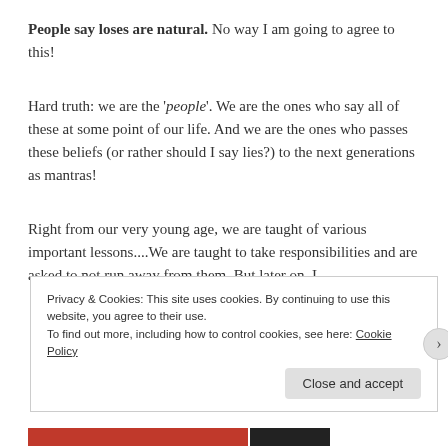People say loses are natural. No way I am going to agree to this!
Hard truth: we are the 'people'. We are the ones who say all of these at some point of our life. And we are the ones who passes these beliefs (or rather should I say lies?) to the next generations as mantras!
Right from our very young age, we are taught of various important lessons....We are taught to take responsibilities and are asked to not run away from them. But later on, I
Privacy & Cookies: This site uses cookies. By continuing to use this website, you agree to their use.
To find out more, including how to control cookies, see here: Cookie Policy